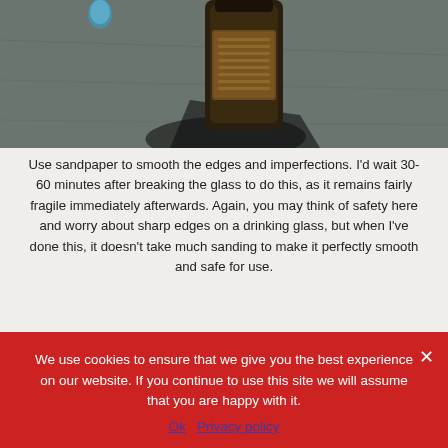[Figure (photo): A dark-colored bottle or container sitting on a grey concrete surface, with a small blue object visible in the background]
Use sandpaper to smooth the edges and imperfections. I'd wait 30-60 minutes after breaking the glass to do this, as it remains fairly fragile immediately afterwards. Again, you may think of safety here and worry about sharp edges on a drinking glass, but when I've done this, it doesn't take much sanding to make it perfectly smooth and safe for use.
Step 11 – Test Your New Glass
We use cookies to ensure that we give you the best experience on our website. If you continue to use this site we will assume that you are happy with it.
Ok   Privacy policy